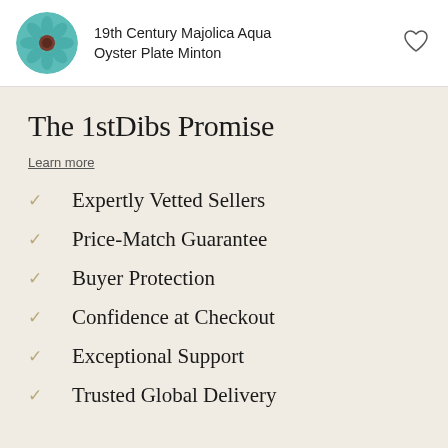19th Century Majolica Aqua Oyster Plate Minton
The 1stDibs Promise
Learn more
Expertly Vetted Sellers
Price-Match Guarantee
Buyer Protection
Confidence at Checkout
Exceptional Support
Trusted Global Delivery